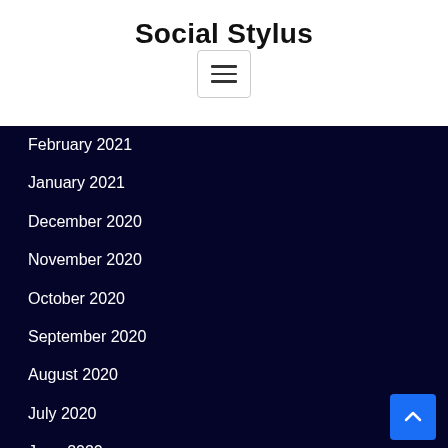Social Stylus
[Figure (screenshot): Hamburger menu button with three horizontal lines, bordered box]
February 2021
January 2021
December 2020
November 2020
October 2020
September 2020
August 2020
July 2020
June 2020